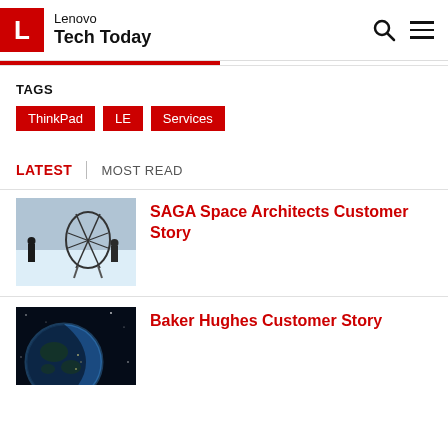Lenovo Tech Today
TAGS
ThinkPad
LE
Services
LATEST | MOST READ
[Figure (photo): Two people standing in snow near a large dark structure]
SAGA Space Architects Customer Story
[Figure (photo): View of Earth from space]
Baker Hughes Customer Story